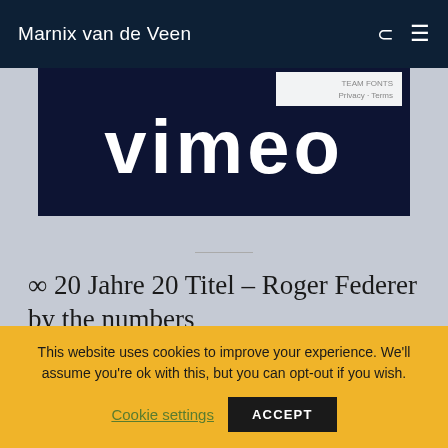Marnix van de Veen
[Figure (screenshot): Vimeo video embed screenshot showing the Vimeo logo in white on a dark navy background, with Privacy and Terms overlay text in the top right corner.]
∞ 20 Jahre 20 Titel – Roger Federer by the numbers
This website uses cookies to improve your experience. We'll assume you're ok with this, but you can opt-out if you wish.
Cookie settings    ACCEPT